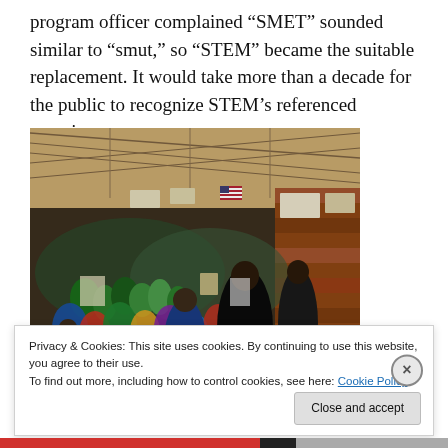program officer complained “SMET” sounded similar to “smut,” so “STEM” became the suitable replacement. It would take more than a decade for the public to recognize STEM’s referenced meaning.
[Figure (photo): A crowded school gymnasium filled with students and adults attending what appears to be a STEM fair or science fair event. People are standing and viewing poster displays. The gym has bleachers, an American flag, and banners on the walls. The crowd is dense with participants in colorful clothing.]
Privacy & Cookies: This site uses cookies. By continuing to use this website, you agree to their use.
To find out more, including how to control cookies, see here: Cookie Policy